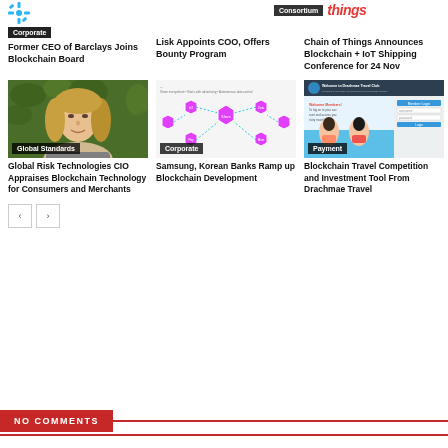[Figure (logo): Blue splatter/snowflake icon logo]
[Figure (logo): Chain of Things consortium logo with red 'things' text]
Corporate
Consortium
things
Former CEO of Barclays Joins Blockchain Board
Lisk Appoints COO, Offers Bounty Program
Chain of Things Announces Blockchain + IoT Shipping Conference for 24 Nov
[Figure (photo): Photo of a blonde woman in front of green foliage with overlay text 'Global Standards']
[Figure (infographic): Blockchain IoT diagram with hexagon nodes and connections, magenta/pink color scheme with overlay text 'Corporate']
[Figure (screenshot): Drachmae Travel Club website screenshot with two women on beach, with overlay text 'Payment']
Global Risk Technologies CIO Appraises Blockchain Technology for Consumers and Merchants
Samsung, Korean Banks Ramp up Blockchain Development
Blockchain Travel Competition and Investment Tool From Drachmae Travel
NO COMMENTS